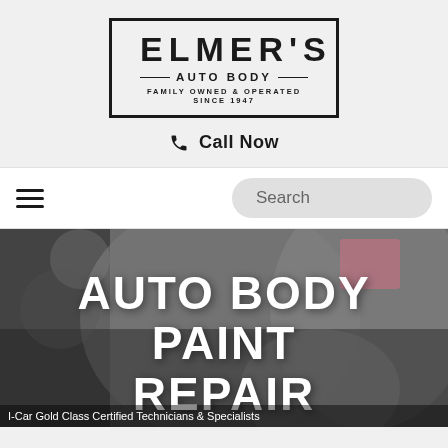[Figure (logo): Elmer's Auto Body logo in a rectangular border. Large text ELMER'S, below AUTO BODY with horizontal rules, then FAMILY OWNED & OPERATED SINCE 1947]
📞 Call Now
≡  Search
[Figure (photo): Background photo of auto body shop interior showing car seats/interior details, darkened/blurred. Large white text overlay reads AUTO BODY PAINT REPAIR. Partial text along bottom edge partially cut off.]